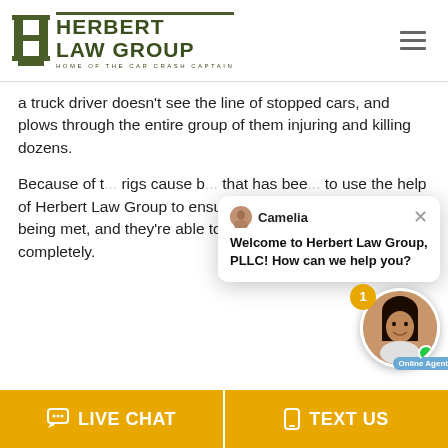Herbert Law Group — Home of the Car Crash Captain
a truck driver doesn't see the line of stopped cars, and plows through the entire group of them injuring and killing dozens.
Because of t... rigs cause b... that has bee... to use the help of Herbert Law Group to ensure that all of their needs are being met, and they're able to have a chance to heal completely.
[Figure (screenshot): Chat popup with agent Camelia. Message: Welcome to Herbert Law Group, PLLC! How can we help you? With close button and agent photo bubble showing Online Agent label and notification badge of 1.]
LIVE CHAT   TEXT US (footer bar)